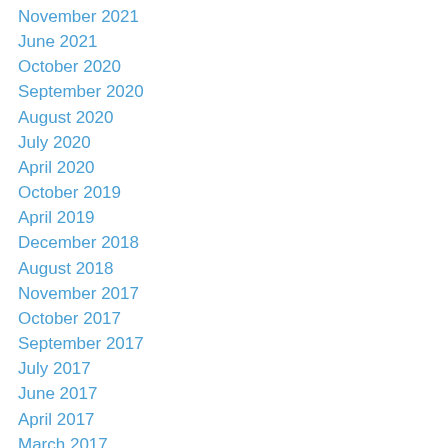November 2021
June 2021
October 2020
September 2020
August 2020
July 2020
April 2020
October 2019
April 2019
December 2018
August 2018
November 2017
October 2017
September 2017
July 2017
June 2017
April 2017
March 2017
February 2017
September 2016